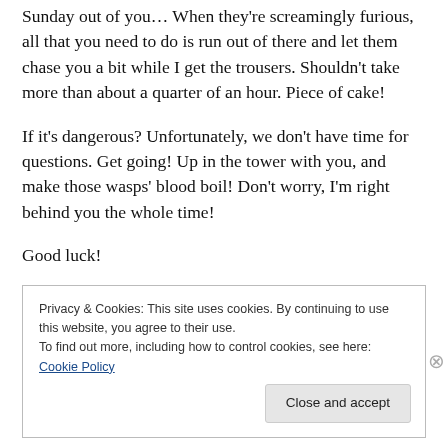Sunday out of you… When they're screamingly furious, all that you need to do is run out of there and let them chase you a bit while I get the trousers. Shouldn't take more than about a quarter of an hour. Piece of cake!
If it's dangerous? Unfortunately, we don't have time for questions. Get going! Up in the tower with you, and make those wasps' blood boil! Don't worry, I'm right behind you the whole time!
Good luck!
Privacy & Cookies: This site uses cookies. By continuing to use this website, you agree to their use.
To find out more, including how to control cookies, see here: Cookie Policy
Close and accept